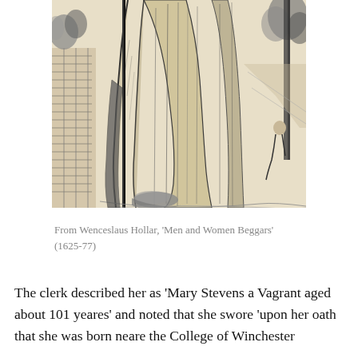[Figure (illustration): A black and white etching showing the lower portion of a figure in long robes or garments, with trees and outdoor scenery in the background. The style is consistent with 17th century printmaking.]
From Wenceslaus Hollar, 'Men and Women Beggars' (1625-77)
The clerk described her as 'Mary Stevens a Vagrant aged about 101 yeares' and noted that she swore 'upon her oath that she was born neare the College of Winchester